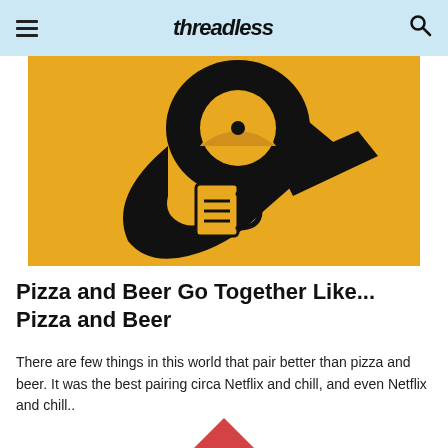Threadless
[Figure (illustration): Yellow background with a large black ampersand symbol. The ampersand incorporates a pizza slice in the upper portion and a beer mug in the lower portion, styled as a graphic design.]
Pizza and Beer Go Together Like... Pizza and Beer
There are few things in this world that pair better than pizza and beer. It was the best pairing circa Netflix and chill, and even Netflix and chill..